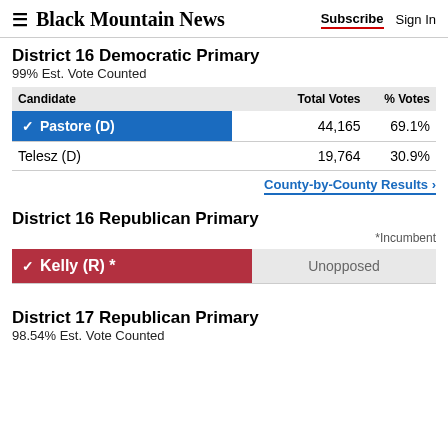Black Mountain News — Subscribe | Sign In
District 16 Democratic Primary
99% Est. Vote Counted
| Candidate | Total Votes | % Votes |
| --- | --- | --- |
| ✔ Pastore (D) | 44,165 | 69.1% |
| Telesz (D) | 19,764 | 30.9% |
County-by-County Results ›
District 16 Republican Primary
*Incumbent
| Candidate | Result |
| --- | --- |
| ✔ Kelly (R) * | Unopposed |
District 17 Republican Primary
98.54% Est. Vote Counted